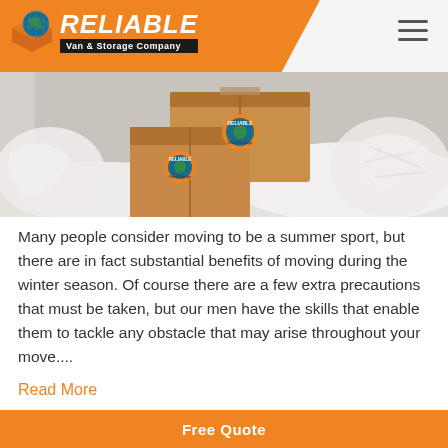[Figure (logo): Reliable Van & Storage Company logo with globe icon on orange header background]
[Figure (photo): Cardboard moving boxes with Reliable Van & Storage Company branding, surrounded by white packing material/snow]
Many people consider moving to be a summer sport, but there are in fact substantial benefits of moving during the winter season. Of course there are a few extra precautions that must be taken, but our men have the skills that enable them to tackle any obstacle that may arise throughout your move....
Read More
Free Quote